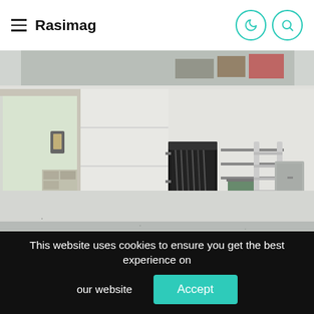Rasimag
[Figure (photo): Interior of a clean, modern garage with an epoxy-coated speckled floor, wall-mounted storage for golf clubs and tools, a metal ladder leaning against the wall, a utility panel on the right wall, an open garage door showing daylight, and overhead storage shelving.]
This website uses cookies to ensure you get the best experience on our website
Accept